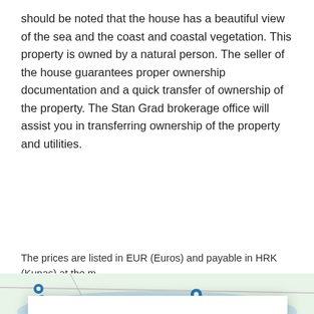should be noted that the house has a beautiful view of the sea and the coast and coastal vegetation. This property is owned by a natural person. The seller of the house guarantees proper ownership documentation and a quick transfer of ownership of the property. The Stan Grad brokerage office will assist you in transferring ownership of the property and utilities.
The prices are listed in EUR (Euros) and payable in HRK (Kunas) at the m
[Figure (map): Map showing Rijecki zaljev area with blue location markers]
This website uses cookies and similar technologies to give you the very best user experience, including to personalise advertising and content. By clicking 'Accept', you accept all cookies.